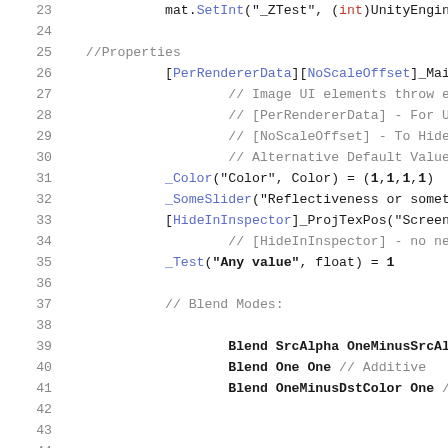[Figure (screenshot): Code editor screenshot showing Unity shader/C# code lines 23-45, with line numbers on the left in gray, code in monospace font with syntax highlighting (blue-purple for identifiers, red for keywords, gray for comments, bold for some values)]